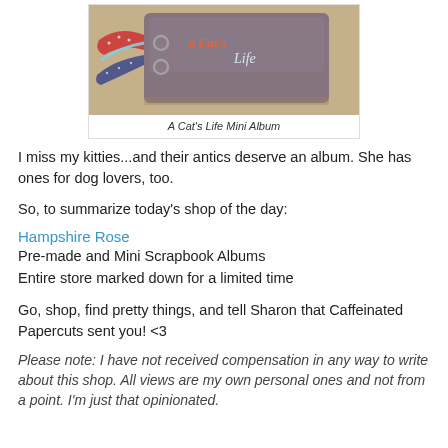[Figure (photo): Photo of a cat-themed mini scrapbook album with ribbons and rings, sitting on a wooden surface. The album cover reads 'a Cat's Life'.]
A Cat's Life Mini Album
I miss my kitties...and their antics deserve an album. She has ones for dog lovers, too.
So, to summarize today's shop of the day:
Hampshire Rose
Pre-made and Mini Scrapbook Albums
Entire store marked down for a limited time
Go, shop, find pretty things, and tell Sharon that Caffeinated Papercuts sent you! <3
Please note: I have not received compensation in any way to write about this shop. All views are my own personal ones and not from a point. I'm just that opinionated.